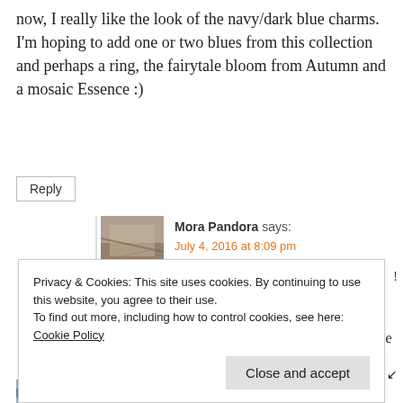now, I really like the look of the navy/dark blue charms. I'm hoping to add one or two blues from this collection and perhaps a ring, the fairytale bloom from Autumn and a mosaic Essence :)
Reply
Mora Pandora says: July 4, 2016 at 8:09 pm
I hope you like them when you see them! That's a nice little wish list. I would like two of the mosaic Essence beads (blue and white I think), and the
Privacy & Cookies: This site uses cookies. By continuing to use this website, you agree to their use.
To find out more, including how to control cookies, see here: Cookie Policy
Close and accept